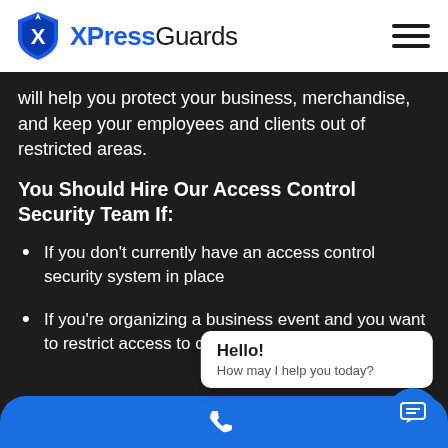[Figure (logo): XPressGuards logo with blue shield and stylized X figure, followed by brand name XPressGuards in blue and black text]
will help you protect your business, merchandise, and keep your employees and clients out of restricted areas.
You Should Hire Our Access Control Security Team If:
If you don't currently have an access control security system in place
If you're organizing a business event and you want to restrict access to certain areas